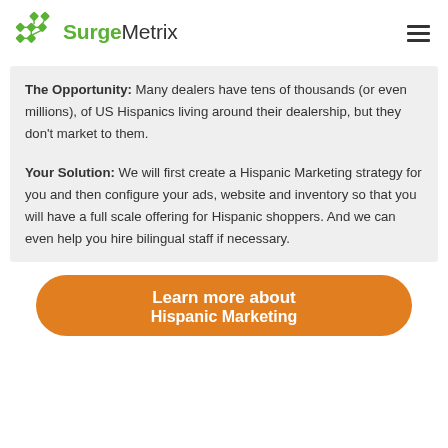SurgeMetrix
The Opportunity: Many dealers have tens of thousands (or even millions), of US Hispanics living around their dealership, but they don't market to them.
Your Solution: We will first create a Hispanic Marketing strategy for you and then configure your ads, website and inventory so that you will have a full scale offering for Hispanic shoppers. And we can even help you hire bilingual staff if necessary.
Learn more about Hispanic Marketing